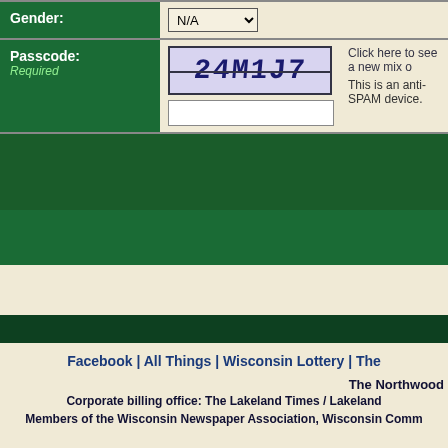| Field | Value | Info |
| --- | --- | --- |
| Gender: | N/A |  |
| Passcode:
Required | 24M1J7 [captcha image]
[text input] | Click here to see a new mix c...
This is an anti-SPAM device. |
Facebook | All Things | Wisconsin Lottery | The...
The Northwood...
232 S. Courtney Street, Rhinel...
Corporate billing office: The Lakeland Times / Lakeland...
Members of the Wisconsin Newspaper Association, Wisconsin Comm...
Site Desi...
Software © 1...